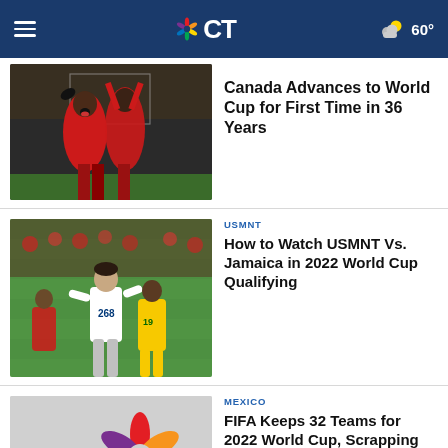NBC CT — 2022 World Cup — 60°
[Figure (photo): Soccer players in red jerseys celebrating, one with mouth open shouting]
Canada Advances to World Cup for First Time in 36 Years
[Figure (photo): USMNT players on soccer field, one in white jersey number 19 in yellow]
USMNT
How to Watch USMNT Vs. Jamaica in 2022 World Cup Qualifying
[Figure (screenshot): NBC logo video thumbnail placeholder with play button]
MEXICO
FIFA Keeps 32 Teams for 2022 World Cup, Scrapping Expansion